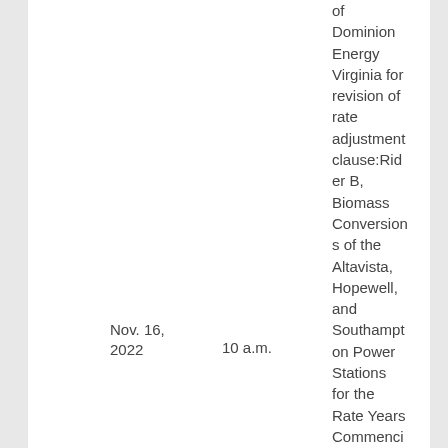of Dominion Energy Virginia for revision of rate adjustment clause:Rider B, Biomass Conversions of the Altavista, Hopewell, and Southampton Power Stations for the Rate Years Commencing April 1, 2023 and April 1
Nov. 16, 2022
10 a.m.